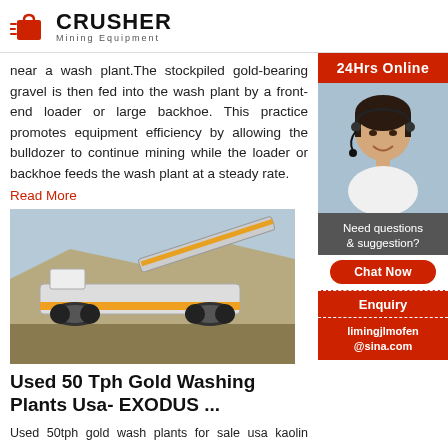CRUSHER Mining Equipment
near a wash plant. The stockpiled gold-bearing gravel is then fed into the wash plant by a front-end loader or large backhoe. This practice promotes equipment efficiency by allowing the bulldozer to continue mining while the loader or backhoe feeds the wash plant at a steady rate.
Read More
[Figure (photo): Photo of a large mobile crushing/screening machine on a rocky mining site]
Used 50 Tph Gold Washing Plants Usa- EXODUS ...
Used 50tph gold wash plants for sale usa kaolin suppliers used gold wash plant for sale in usa ca in 1997 shandong xinhai mining technology equ...
[Figure (photo): Sidebar: 24Hrs Online banner with photo of customer service representative wearing headset, Need questions & suggestion? Chat Now button, Enquiry section, limingjlmofen@sina.com contact]